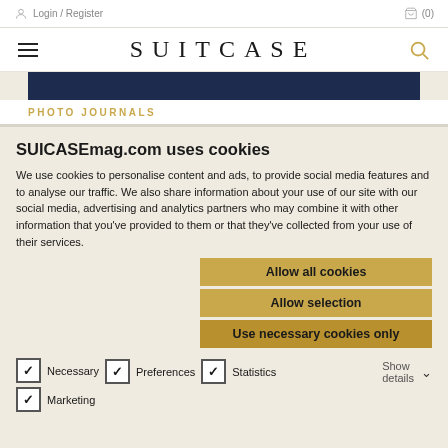Login / Register  (0)
SUITCASE
[Figure (photo): Dark blue image strip, partial view of a photo journal cover]
PHOTO JOURNALS
SUITCASEmag.com uses cookies
We use cookies to personalise content and ads, to provide social media features and to analyse our traffic. We also share information about your use of our site with our social media, advertising and analytics partners who may combine it with other information that you've provided to them or that they've collected from your use of their services.
Allow all cookies
Allow selection
Use necessary cookies only
Necessary
Preferences
Statistics
Marketing
Show details